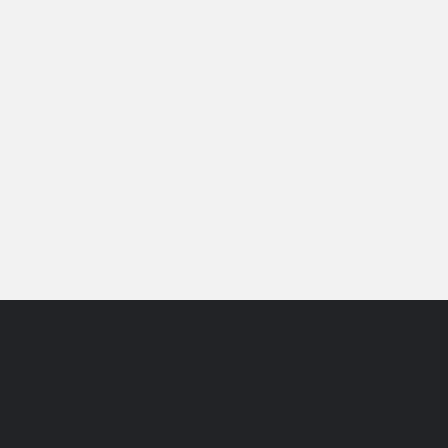About us!
We publish most comprehensive tutorials, tips and tricks for Mobiles, Computers, Internet, Social Media and Blogging. We bring